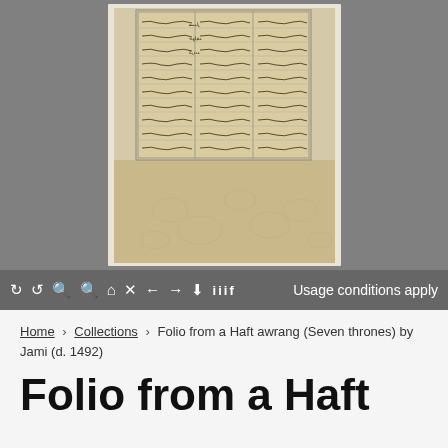[Figure (photo): A zoomed-in view of a folio from a Persian manuscript (Haft awrang), showing Arabic/Persian calligraphic text arranged in multiple columns on aged, yellowed paper with decorative border. The image is displayed in a gray image viewer interface.]
🔄 ↩ 🔍- 🔍+ 🏠 ✕ ← → ⬇ iiif   Usage conditions apply
Home > Collections > Folio from a Haft awrang (Seven thrones) by Jami (d. 1492)
Folio from a Haft